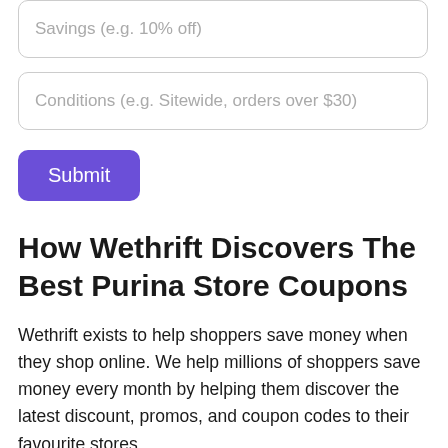Savings (e.g. 10% off)
Conditions (e.g. Sitewide, orders over $30)
Submit
How Wethrift Discovers The Best Purina Store Coupons
Wethrift exists to help shoppers save money when they shop online. We help millions of shoppers save money every month by helping them discover the latest discount, promos, and coupon codes to their favourite stores.
Our team spends hours hunting down and sorting Purina Store deals and discount codes. We publish thousands of new codes every day. We're constantly scanning dozens of sources for the latest Purina Store coupon codes, as well as